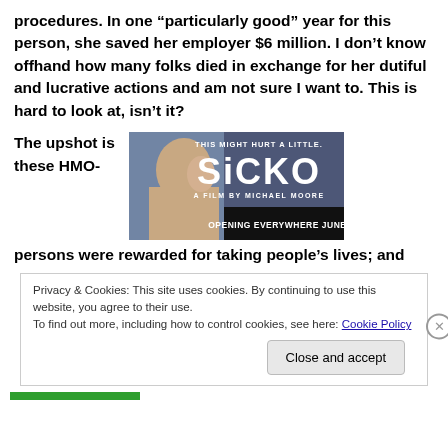procedures. In one “particularly good” year for this person, she saved her employer $6 million. I don’t know offhand how many folks died in exchange for her dutiful and lucrative actions and am not sure I want to. This is hard to look at, isn’t it?
The upshot is these HMO-
[Figure (photo): Movie poster for SICKO by Michael Moore. Text reads: THIS MIGHT HURT A LITTLE. SiCKO A FILM BY MICHAEL MOORE OPENING EVERYWHERE JUNE 29]
persons were rewarded for taking people’s lives; and
Privacy & Cookies: This site uses cookies. By continuing to use this website, you agree to their use.
To find out more, including how to control cookies, see here: Cookie Policy
Close and accept